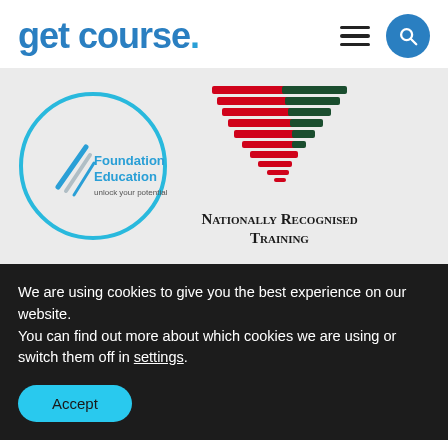get course.
[Figure (logo): Foundation Education logo in a teal circle with text 'Foundation Education unlock your potential' and Nationally Recognised Training logo with red and green striped chevron]
We are using cookies to give you the best experience on our website.
You can find out more about which cookies we are using or switch them off in settings.
Accept